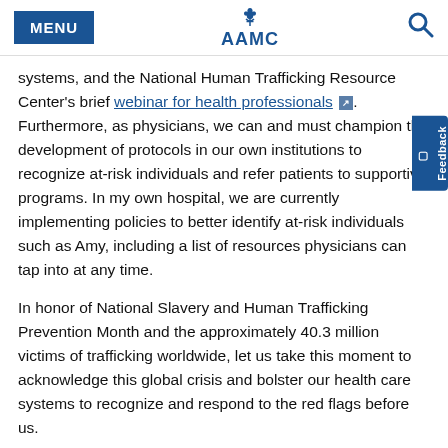MENU | AAMC
systems, and the National Human Trafficking Resource Center's brief webinar for health professionals. Furthermore, as physicians, we can and must champion the development of protocols in our own institutions to recognize at-risk individuals and refer patients to supportive programs. In my own hospital, we are currently implementing policies to better identify at-risk individuals such as Amy, including a list of resources physicians can tap into at any time.
In honor of National Slavery and Human Trafficking Prevention Month and the approximately 40.3 million victims of trafficking worldwide, let us take this moment to acknowledge this global crisis and bolster our health care systems to recognize and respond to the red flags before us.